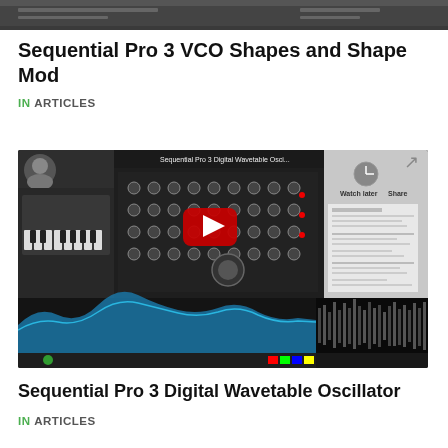[Figure (screenshot): Cropped top portion of a video thumbnail showing a DAW/music software interface]
Sequential Pro 3 VCO Shapes and Shape Mod
IN ARTICLES
[Figure (screenshot): YouTube video thumbnail for Sequential Pro 3 Digital Wavetable Oscillator, showing a synthesizer interface, waveform displays, and a YouTube play button overlay]
Sequential Pro 3 Digital Wavetable Oscillator
IN ARTICLES